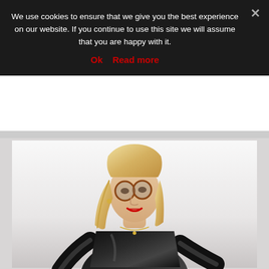We use cookies to ensure that we give you the best experience on our website. If you continue to use this site we will assume that you are happy with it.
Ok  Read more
[Figure (photo): A blonde woman wearing round glasses, red lipstick, and a black latex/vinyl bodysuit with long black gloves, leaning forward against a white background.]